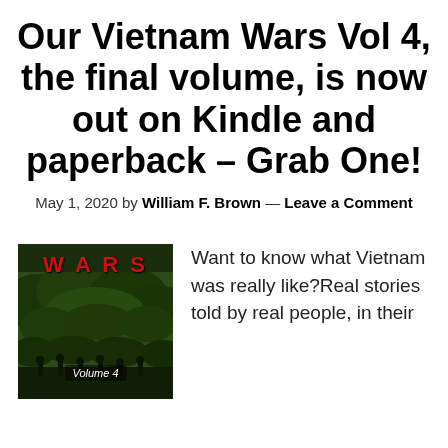Our Vietnam Wars Vol 4, the final volume, is now out on Kindle and paperback – Grab One!
May 1, 2020 by William F. Brown — Leave a Comment
[Figure (illustration): Book cover for 'Our Vietnam Wars Volume 4' showing red bold WARS text at top and a jungle scene with soldiers below, with 'Volume 4' label.]
Want to know what Vietnam was really like?Real stories told by real people, in their